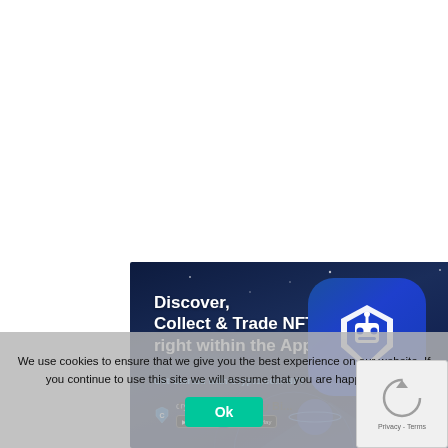[Figure (screenshot): Crypto.com NFT advertisement banner with dark blue background showing text 'Discover, Collect & Trade NFTs right within the App' with Get Started with Crypto.com NFT subtitle and app store download buttons]
[Figure (logo): Crypto.com app icon — blue rounded square with white hexagonal shield/robot logo]
We use cookies to ensure that we give you the best experience on our website. If you continue to use this site we will assume that you are happy with it.
Crypto.com · Buy Bi...
5 free
[Figure (screenshot): reCAPTCHA widget showing spinning icon with Privacy - Terms text]